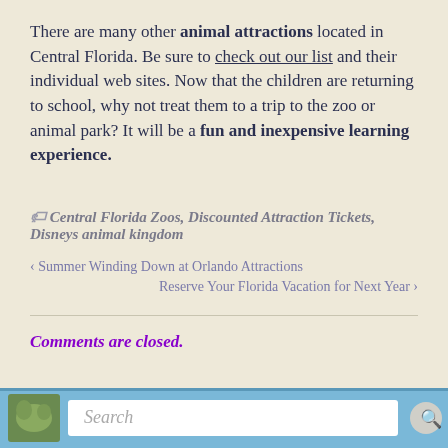There are many other animal attractions located in Central Florida. Be sure to check out our list and their individual web sites. Now that the children are returning to school, why not treat them to a trip to the zoo or animal park? It will be a fun and inexpensive learning experience.
🏷 Central Florida Zoos, Discounted Attraction Tickets, Disneys animal kingdom
‹ Summer Winding Down at Orlando Attractions
Reserve Your Florida Vacation for Next Year ›
Comments are closed.
[Figure (screenshot): Search bar with blue background, animal image on left, text input field labeled Search, and search button on right]